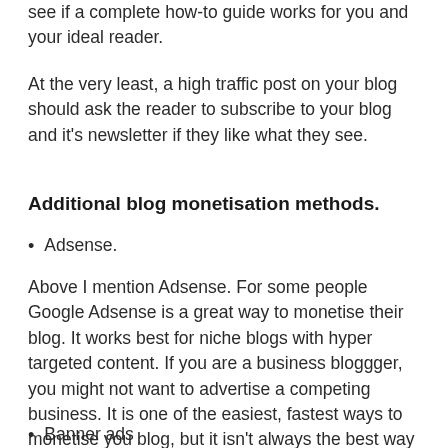see if a complete how-to guide works for you and your ideal reader.
At the very least, a high traffic post on your blog should ask the reader to subscribe to your blog and it's newsletter if they like what they see.
Additional blog monetisation methods.
Adsense.
Above I mention Adsense. For some people Google Adsense is a great way to monetise their blog. It works best for niche blogs with hyper targeted content. If you are a business bloggger, you might not want to advertise a competing business. It is one of the easiest, fastest ways to monetise you blog, but it isn't always the best way to monetise for you and your business.
Banner ads